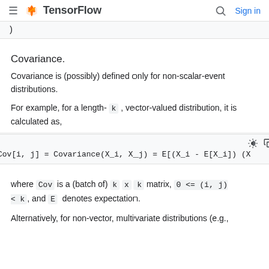TensorFlow  Sign in
)
Covariance.
Covariance is (possibly) defined only for non-scalar-event distributions.
For example, for a length- k , vector-valued distribution, it is calculated as,
where Cov is a (batch of) k x k matrix, 0 <= (i, j) < k , and E denotes expectation.
Alternatively, for non-vector, multivariate distributions (e.g.,